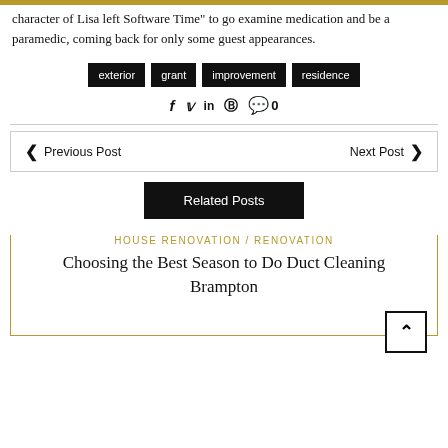character of Lisa left Software Time" to go examine medication and be a paramedic, coming back for only some guest appearances.
exterior
grant
improvement
residence
Social share icons: f  in  P  0
Previous Post   Next Post
Related Posts
HOUSE RENOVATION / RENOVATION
Choosing the Best Season to Do Duct Cleaning Brampton